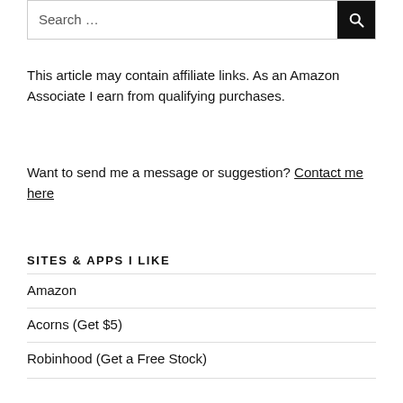[Figure (screenshot): Search bar with text input 'Search …' and a black magnifying glass button]
This article may contain affiliate links. As an Amazon Associate I earn from qualifying purchases.
Want to send me a message or suggestion? Contact me here
SITES & APPS I LIKE
Amazon
Acorns (Get $5)
Robinhood (Get a Free Stock)